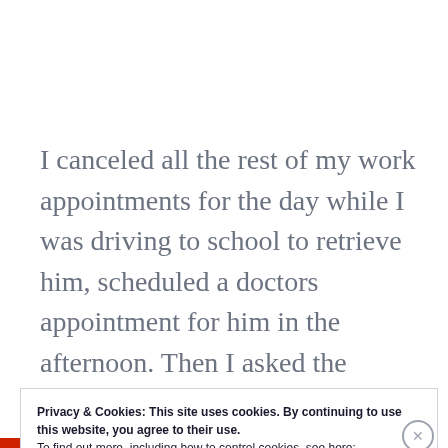I canceled all the rest of my work appointments for the day while I was driving to school to retrieve him, scheduled a doctors appointment for him in the afternoon. Then I asked the
Privacy & Cookies: This site uses cookies. By continuing to use this website, you agree to their use.
To find out more, including how to control cookies, see here:
Cookie Policy
Close and accept